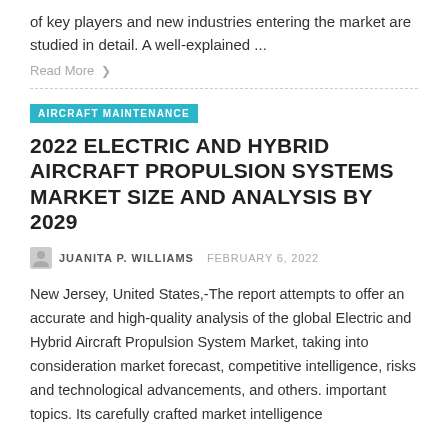of key players and new industries entering the market are studied in detail. A well-explained ...
Read More ❯
AIRCRAFT MAINTENANCE
2022 ELECTRIC AND HYBRID AIRCRAFT PROPULSION SYSTEMS MARKET SIZE AND ANALYSIS BY 2029
JUANITA P. WILLIAMS  FEBRUARY 6, 2022
New Jersey, United States,-The report attempts to offer an accurate and high-quality analysis of the global Electric and Hybrid Aircraft Propulsion System Market, taking into consideration market forecast, competitive intelligence, risks and technological advancements, and others. important topics. Its carefully crafted market intelligence